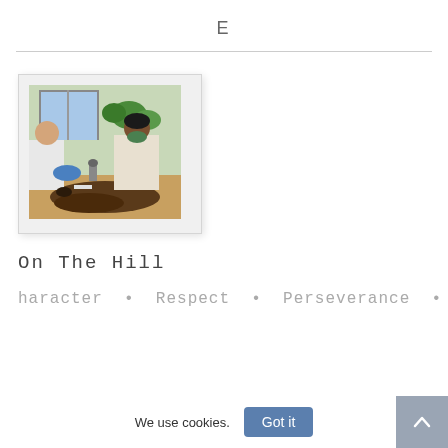E
[Figure (photo): Students wearing masks working on a gardening/soil activity at a table in a classroom, with plants visible in the background.]
On The Hill
haracter • Respect • Perseverance • Creat
We use cookies.
Got it